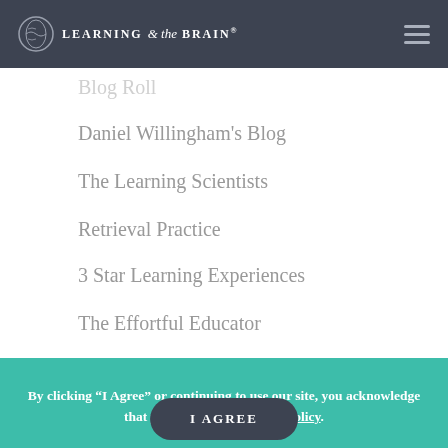Learning & the Brain
Daniel Willingham's Blog
The Learning Scientists
Retrieval Practice
3 Star Learning Experiences
The Effortful Educator
Greg Ashman's Blog
Neurocritic
Nate Kornell's Blog
By clicking “I Agree” or continuing to use our site, you acknowledge that you accept our Privacy Policy.